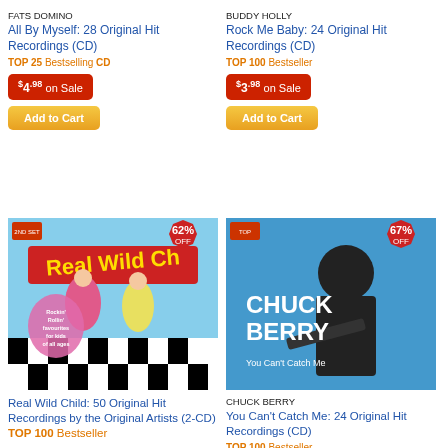FATS DOMINO
All By Myself: 28 Original Hit Recordings (CD)
TOP 25 Bestselling CD
$4.98 on Sale
Add to Cart
BUDDY HOLLY
Rock Me Baby: 24 Original Hit Recordings (CD)
TOP 100 Bestseller
$3.98 on Sale
Add to Cart
[Figure (photo): Real Wild Child album cover with cartoon dancing kids, 62% OFF badge]
Real Wild Child: 50 Original Hit Recordings by the Original Artists (2-CD) TOP 100 Bestseller
$4.98 on Sale
[Figure (photo): Chuck Berry You Can't Catch Me album cover, 67% OFF badge]
CHUCK BERRY
You Can't Catch Me: 24 Original Hit Recordings (CD)
TOP 100 Bestseller